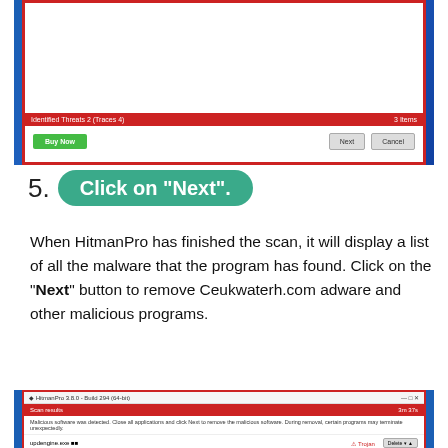[Figure (screenshot): HitmanPro scan results dialog with red border showing 'Identified Threats 2 (Traces 4)' and '3 Items', with Buy Now, Next, and Cancel buttons]
5. Click on "Next".
When HitmanPro has finished the scan, it will display a list of all the malware that the program has found. Click on the "Next" button to remove Ceukwaterh.com adware and other malicious programs.
[Figure (screenshot): HitmanPro 3.8.0 Build 294 (64-bit) scan results window showing 'Malicious software was detected' message and updengine.exe identified as Trojan with Delete option]